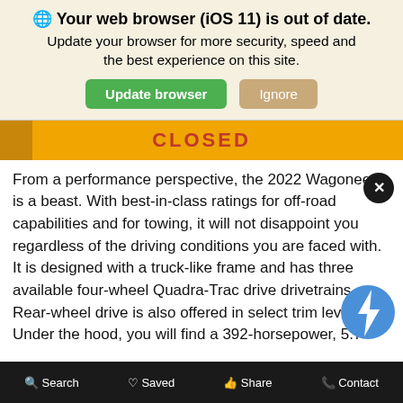🌐 Your web browser (iOS 11) is out of date. Update your browser for more security, speed and the best experience on this site.
Update browser | Ignore
CLOSED
From a performance perspective, the 2022 Wagoneer is a beast. With best-in-class ratings for off-road capabilities and for towing, it will not disappoint you regardless of the driving conditions you are faced with. It is designed with a truck-like frame and has three available four-wheel Quadra-Trac drive drivetrains. Rear-wheel drive is also offered in select trim levels. Under the hood, you will find a 392-horsepower, 5.7-liter, V8 engine with mild-hybrid functionality. The engine design is combined with an auto start-stop function to support excellent fuel economy. At the same time, the 2022 Jeep Wagoneer can tow up to 10,000 pounds, and this is substantially higher
🔍 Search  ♡ Saved  👍 Share  📞 Contact